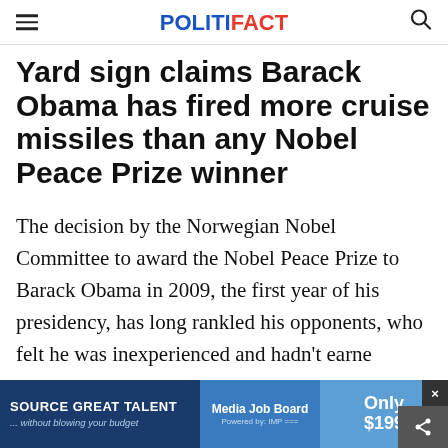POLITIFACT
Yard sign claims Barack Obama has fired more cruise missiles than any Nobel Peace Prize winner
The decision by the Norwegian Nobel Committee to award the Nobel Peace Prize to Barack Obama in 2009, the first year of his presidency, has long rankled his opponents, who felt he was inexperienced and hadn't earne
[Figure (other): Advertisement banner at bottom: 'SOURCE GREAT TALENT ...without blowing your budget' with Media Job Board logo and 'Only $199' price, with close (x) button and share icon]